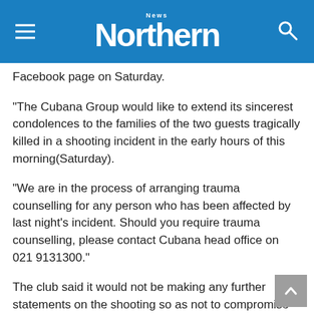Northern News
Facebook page on Saturday.
“The Cubana Group would like to extend its sincerest condolences to the families of the two guests tragically killed in a shooting incident in the early hours of this morning(Saturday).
“We are in the process of arranging trauma counselling for any person who has been affected by last night’s incident. Should you require trauma counselling, please contact Cubana head office on 021 9131300.”
The club said it would not be making any further statements on the shooting so as not to compromise the police investigation.